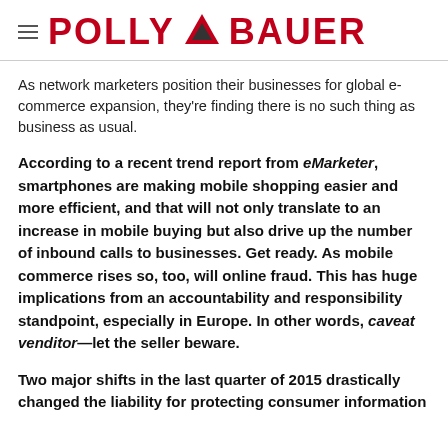POLLY BAUER
As network marketers position their businesses for global e-commerce expansion, they're finding there is no such thing as business as usual.
According to a recent trend report from eMarketer, smartphones are making mobile shopping easier and more efficient, and that will not only translate to an increase in mobile buying but also drive up the number of inbound calls to businesses. Get ready. As mobile commerce rises so, too, will online fraud. This has huge implications from an accountability and responsibility standpoint, especially in Europe. In other words, caveat venditor—let the seller beware.
Two major shifts in the last quarter of 2015 drastically changed the liability for protecting consumer information